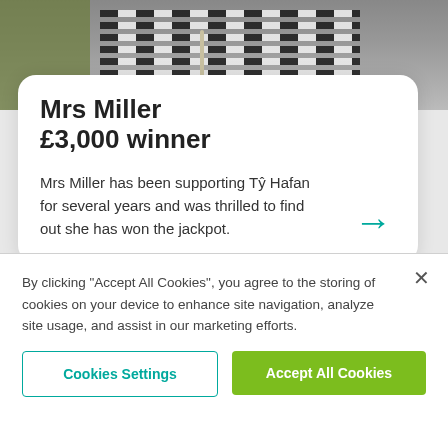[Figure (photo): Partial photo of a person wearing a black and white striped top, sitting on an olive/grey background, holding what appears to be a document or letter]
Mrs Miller
£3,000 winner
Mrs Miller has been supporting Tŷ Hafan for several years and was thrilled to find out she has won the jackpot.
play now →
By clicking "Accept All Cookies", you agree to the storing of cookies on your device to enhance site navigation, analyze site usage, and assist in our marketing efforts.
Cookies Settings
Accept All Cookies